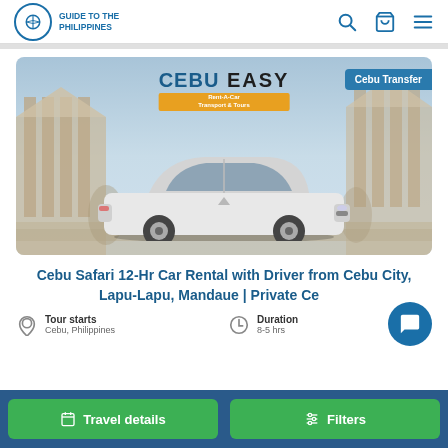Guide to the Philippines
[Figure (photo): Cebu Easy Rent-a-Car product image showing a white Toyota Corolla sedan in front of a classical building with columns, with 'CEBU EASY' logo overlay and 'Cebu Transfer' badge]
Cebu Safari 12-Hr Car Rental with Driver from Cebu City, Lapu-Lapu, Mandaue | Private Ce...
Tour starts
Cebu, Philippines
Duration
8-5 hrs
Travel details
Filters